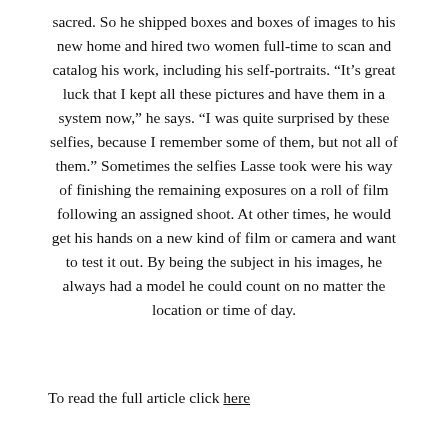sacred. So he shipped boxes and boxes of images to his new home and hired two women full-time to scan and catalog his work, including his self-portraits. “It’s great luck that I kept all these pictures and have them in a system now,” he says. “I was quite surprised by these selfies, because I remember some of them, but not all of them.” Sometimes the selfies Lasse took were his way of finishing the remaining exposures on a roll of film following an assigned shoot. At other times, he would get his hands on a new kind of film or camera and want to test it out. By being the subject in his images, he always had a model he could count on no matter the location or time of day.
To read the full article click here